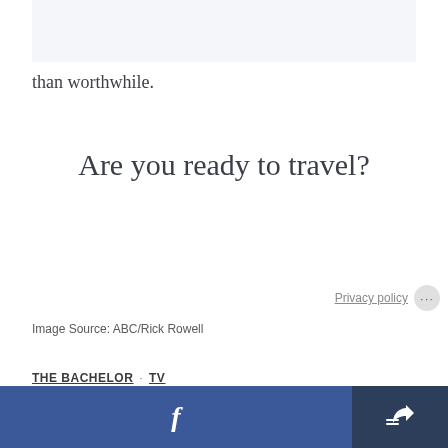[Figure (photo): Image area at top of page with light blue-grey background]
than worthwhile.
Are you ready to travel?
Privacy policy
Image Source: ABC/Rick Rowell
THE BACHELOR · TV
[Figure (other): Bottom bar with Facebook share button and general share button]